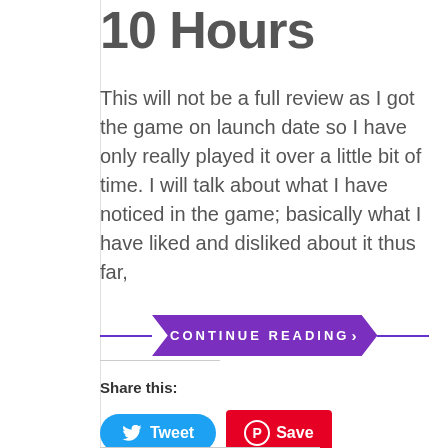10 Hours
This will not be a full review as I got the game on launch date so I have only really played it over a little bit of time. I will talk about what I have noticed in the game; basically what I have liked and disliked about it thus far,
CONTINUE READING>
Share this:
Tweet
Save
Post